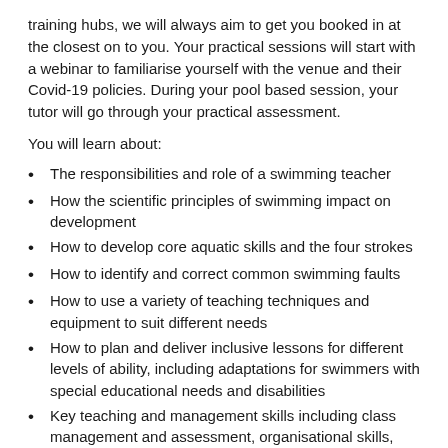training hubs, we will always aim to get you booked in at the closest on to you. Your practical sessions will start with a webinar to familiarise yourself with the venue and their Covid-19 policies. During your pool based session, your tutor will go through your practical assessment.
You will learn about:
The responsibilities and role of a swimming teacher
How the scientific principles of swimming impact on development
How to develop core aquatic skills and the four strokes
How to identify and correct common swimming faults
How to use a variety of teaching techniques and equipment to suit different needs
How to plan and deliver inclusive lessons for different levels of ability, including adaptations for swimmers with special educational needs and disabilities
Key teaching and management skills including class management and assessment, organisational skills, behaviour management, communication skills, and teaching methods
National curriculum swimming lessons and how they differ from